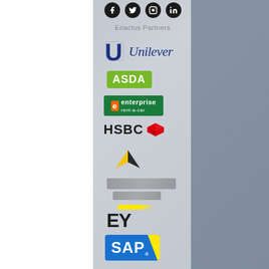Enactus Partners
[Figure (logo): Unilever logo — U symbol in blue with 'Unilever' in navy italic serif text]
[Figure (logo): ASDA logo — green rectangle with white ASDA text]
[Figure (logo): Enterprise Rent-A-Car logo — green rectangle with E and enterprise text]
[Figure (logo): HSBC logo — HSBC text with red hexagon symbol]
[Figure (logo): Vitality logo — yellow and black wing/chevron symbol]
[Figure (logo): Blurred/redacted logo — partially obscured]
[Figure (logo): EY (Ernst & Young) logo — yellow diagonal stripe above bold EY text]
[Figure (logo): SAP logo — blue rectangle with white SAP text and yellow triangle corner]